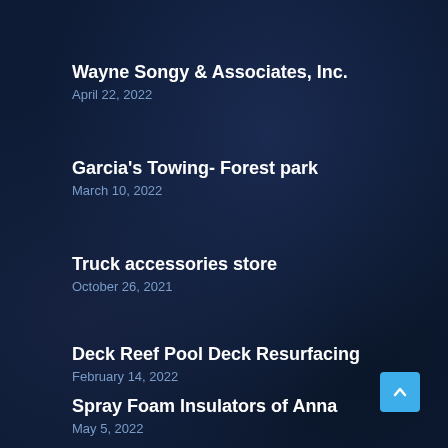Wayne Songy & Associates, Inc.
April 22, 2022
Garcia's Towing- Forest park
March 10, 2022
Truck accessories store
October 26, 2021
Deck Reef Pool Deck Resurfacing
February 14, 2022
Spray Foam Insulators of Anna
May 5, 2022